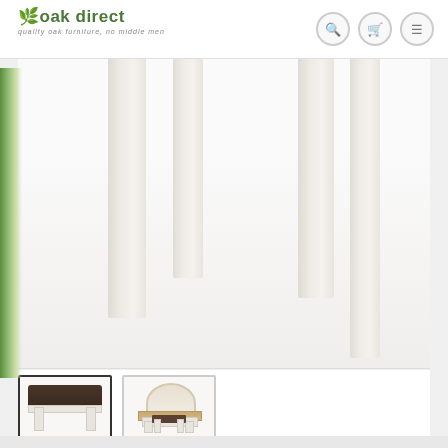[Figure (logo): Oak Direct logo with leaf icon and tagline 'quality oak furniture, no middle men']
[Figure (photo): Main product image showing white painted furniture legs/stool detail against light background, with green foliage visible on left edge]
[Figure (photo): Thumbnail 1 (active/selected): Close-up of white painted stool with dark brown leather/vinyl seat cushion]
[Figure (photo): Thumbnail 2: Dressing table set showing mirror, table with oak top, and matching stool with dark seat]